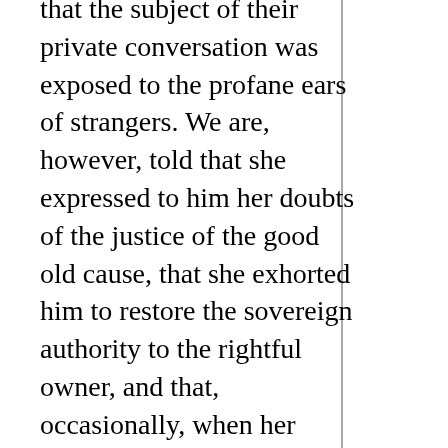that the subject of their private conversation was exposed to the profane ears of strangers. We are, however, told that she expressed to him her doubts of the justice of the good old cause, that she exhorted him to restore the sovereign authority to the rightful owner, and that, occasionally, when her mind was wandering, she alarmed him by uttering cries of “blood,” and predictions of vengeance.[1]
4. Elizabeth died.[a] The protector was already confined to his bed with the gout, and, though he had anticipated the event, some days elapsed before he recovered from the